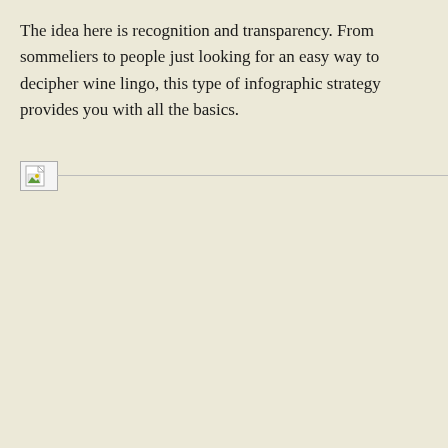The idea here is recognition and transparency. From sommeliers to people just looking for an easy way to decipher wine lingo, this type of infographic strategy provides you with all the basics.
[Figure (other): Broken/missing image placeholder with a small icon and a horizontal line extending to the right]